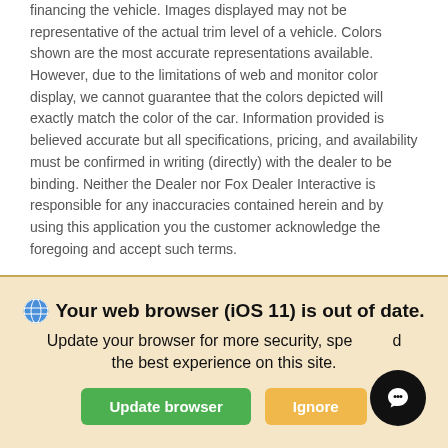financing the vehicle. Images displayed may not be representative of the actual trim level of a vehicle. Colors shown are the most accurate representations available. However, due to the limitations of web and monitor color display, we cannot guarantee that the colors depicted will exactly match the color of the car. Information provided is believed accurate but all specifications, pricing, and availability must be confirmed in writing (directly) with the dealer to be binding. Neither the Dealer nor Fox Dealer Interactive is responsible for any inaccuracies contained herein and by using this application you the customer acknowledge the foregoing and accept such terms.
Net Price DOES NOT include dealer or vendor installed upgrades, accessories, or added after market items. Those products are OPTIONAL and can be purchased for an additional cost. Call For Details!*
Final prices are price shown plus government fees and taxes, any
[Figure (screenshot): Browser update notification banner with dark cream background. Shows globe icon, bold text 'Your web browser (iOS 11) is out of date.', subtitle 'Update your browser for more security, speed and the best experience on this site.', a green 'Update browser' button, an orange 'Ignore' button, and a black circular chat button in the bottom right corner.]